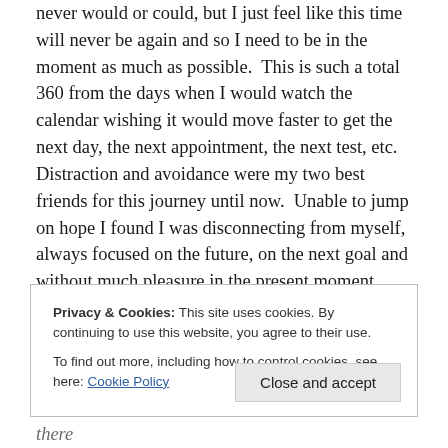never would or could, but I just feel like this time will never be again and so I need to be in the moment as much as possible.  This is such a total 360 from the days when I would watch the calendar wishing it would move faster to get the next day, the next appointment, the next test, etc.  Distraction and avoidance were my two best friends for this journey until now.  Unable to jump on hope I found I was disconnecting from myself, always focused on the future, on the next goal and without much pleasure in the present moment.
Privacy & Cookies: This site uses cookies. By continuing to use this website, you agree to their use. To find out more, including how to control cookies, see here: Cookie Policy
sat there in bed it happened again and again until there